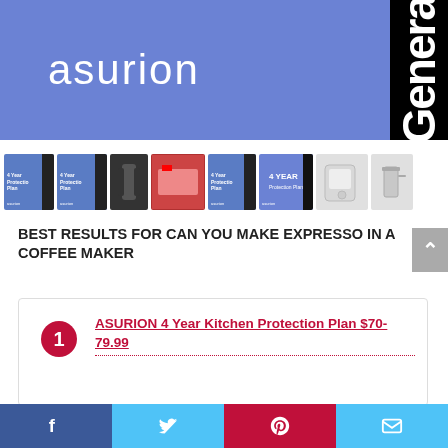[Figure (logo): Asurion logo on blue and black banner header with 'Genera' text on black sidebar]
[Figure (screenshot): Row of product thumbnails showing Asurion 4 Year Protection Plan booklets, appliances, and accessories]
BEST RESULTS FOR CAN YOU MAKE EXPRESSO IN A COFFEE MAKER
ASURION 4 Year Kitchen Protection Plan $70-79.99
[Figure (screenshot): Social sharing footer buttons: Facebook, Twitter, Pinterest, Email]